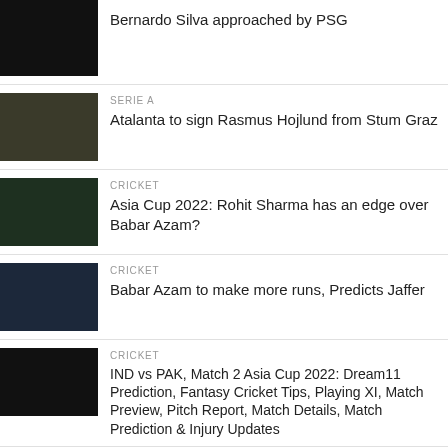[Figure (photo): Dark image thumbnail for first article]
Bernardo Silva approached by PSG
[Figure (photo): Sports photo thumbnail - Atalanta/Serie A]
SERIE A
Atalanta to sign Rasmus Hojlund from Stum Graz
[Figure (photo): Cricket photo thumbnail - Rohit Sharma]
CRICKET
Asia Cup 2022: Rohit Sharma has an edge over Babar Azam?
[Figure (photo): Cricket photo thumbnail - Babar Azam]
CRICKET
Babar Azam to make more runs, Predicts Jaffer
[Figure (photo): Dark image thumbnail - IND vs PAK]
CRICKET
IND vs PAK, Match 2 Asia Cup 2022: Dream11 Prediction, Fantasy Cricket Tips, Playing XI, Match Preview, Pitch Report, Match Details, Match Prediction & Injury Updates
[Figure (photo): Dark image thumbnail - Formula 1]
FORMULA 1
Why does McLaren want to pay off